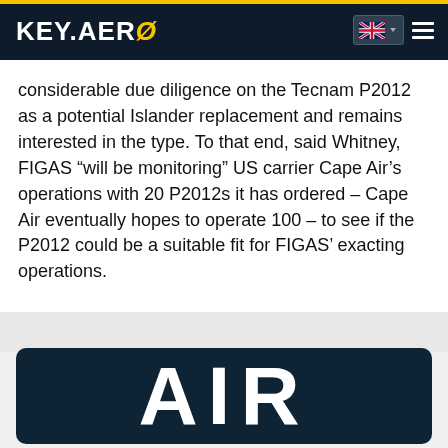KEY.AERO
considerable due diligence on the Tecnam P2012 as a potential Islander replacement and remains interested in the type. To that end, said Whitney, FIGAS “will be monitoring” US carrier Cape Air’s operations with 20 P2012s it has ordered – Cape Air eventually hopes to operate 100 – to see if the P2012 could be a suitable fit for FIGAS’ exacting operations.
[Figure (other): Dark navy card showing large bold white text 'AIR' partially visible]